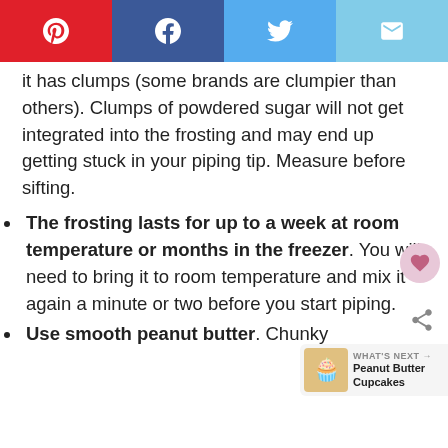Social sharing buttons: Pinterest, Facebook, Twitter, Email
it has clumps (some brands are clumpier than others). Clumps of powdered sugar will not get integrated into the frosting and may end up getting stuck in your piping tip. Measure before sifting.
The frosting lasts for up to a week at room temperature or months in the freezer. You will need to bring it to room temperature and mix it again a minute or two before you start piping.
Use smooth peanut butter. Chunky